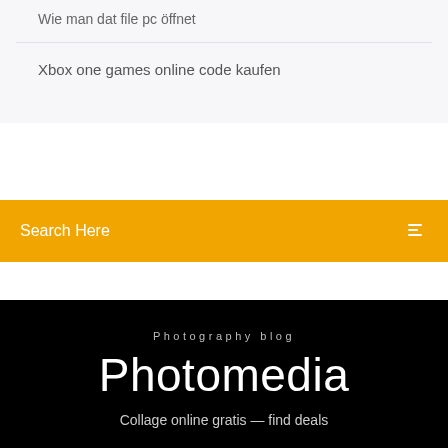Wie man dat file pc öffnet
Xbox one games online code kaufen
Search Here
Photomedia
Photography blog
Collage online gratis — find deals